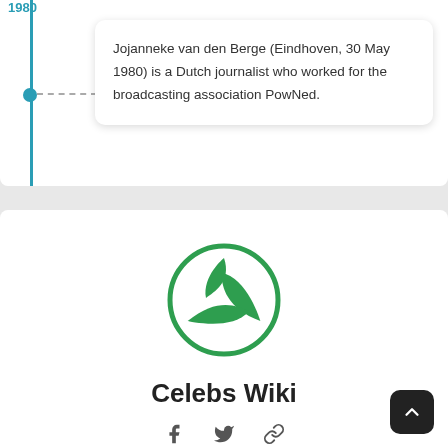Jojanneke van den Berge (Eindhoven, 30 May 1980) is a Dutch journalist who worked for the broadcasting association PowNed.
[Figure (logo): Green circular logo with a three-leaf/arrow design inside, representing Celebs Wiki website]
Celebs Wiki